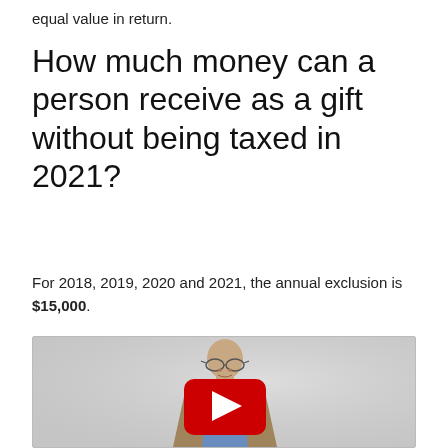equal value in return.
How much money can a person receive as a gift without being taxed in 2021?
For 2018, 2019, 2020 and 2021, the annual exclusion is $15,000.
[Figure (screenshot): YouTube video thumbnail showing a man in a suit with glasses and a bow tie, with a red YouTube play button overlay in the center.]